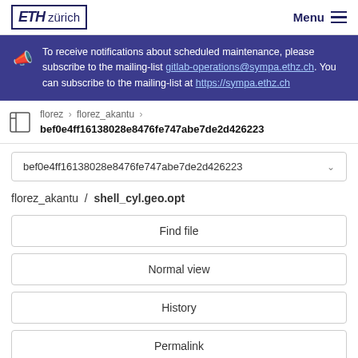ETH zürich — Menu
To receive notifications about scheduled maintenance, please subscribe to the mailing-list gitlab-operations@sympa.ethz.ch. You can subscribe to the mailing-list at https://sympa.ethz.ch
florez > florez_akantu > bef0e4ff16138028e8476fe747abe7de2d426223
bef0e4ff16138028e8476fe747abe7de2d426223
florez_akantu / shell_cyl.geo.opt
Find file
Normal view
History
Permalink